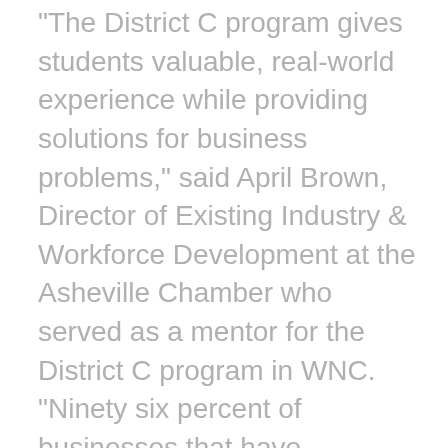“The District C program gives students valuable, real-world experience while providing solutions for business problems,” said April Brown, Director of Existing Industry & Workforce Development at the Asheville Chamber who served as a mentor for the District C program in WNC. “Ninety six percent of businesses that have partnered with District C actually installed student solutions. We’re excited to see what the WNC teams have come up with for these two small businesses.”
District C is a non-profit start-up that is building a model for diverse, equitable, and inclusive talent development. They have developed an innovative learning